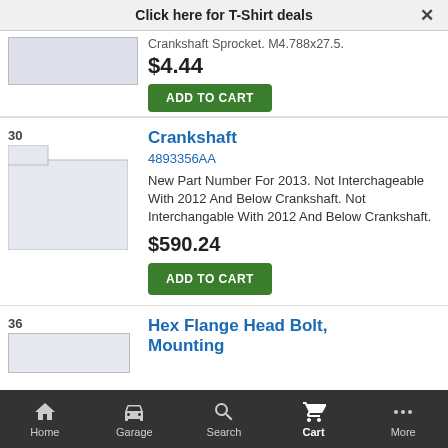Click here for T-Shirt deals ×
Crankshaft Sprocket. M4.788x27.5.
$4.44
ADD TO CART
Crankshaft
4893356AA
New Part Number For 2013. Not Interchageable With 2012 And Below Crankshaft. Not Interchangable With 2012 And Below Crankshaft.
$590.24
ADD TO CART
Hex Flange Head Bolt, Mounting
Home | Garage | Search | Cart | More